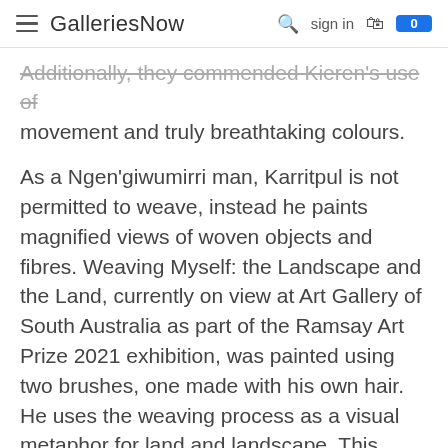GalleriesNow  sign in  0
Additionally, they commended Kieren's use of movement and truly breathtaking colours.
As a Ngen'giwumirri man, Karritpul is not permitted to weave, instead he paints magnified views of woven objects and fibres. Weaving Myself: the Landscape and the Land, currently on view at Art Gallery of South Australia as part of the Ramsay Art Prize 2021 exhibition, was painted using two brushes, one made with his own hair. He uses the weaving process as a visual metaphor for land and landscape. This painting is a magnified view of the woven surface that stands for the breathing lands of his Country. Karritpul feels he was born woven into the land. Using